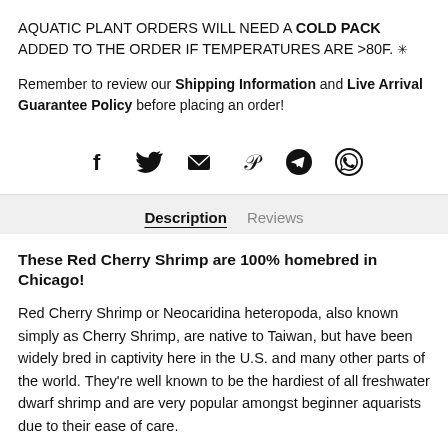AQUATIC PLANT ORDERS WILL NEED A COLD PACK ADDED TO THE ORDER IF TEMPERATURES ARE >80F. ✳
Remember to review our Shipping Information and Live Arrival Guarantee Policy before placing an order!
[Figure (other): Social media share icons: Facebook, Twitter, Email, Pinterest, Telegram, WhatsApp]
Description   Reviews
These Red Cherry Shrimp are 100% homebred in Chicago!
Red Cherry Shrimp or Neocaridina heteropoda, also known simply as Cherry Shrimp, are native to Taiwan, but have been widely bred in captivity here in the U.S. and many other parts of the world. They're well known to be the hardiest of all freshwater dwarf shrimp and are very popular amongst beginner aquarists due to their ease of care.